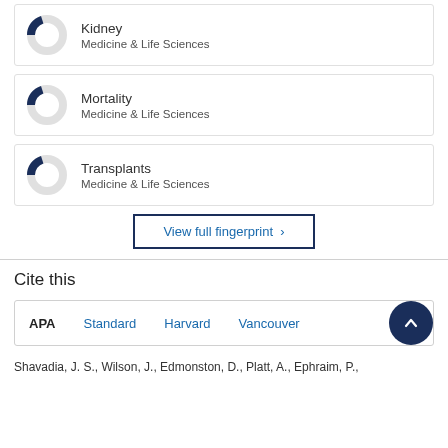[Figure (donut-chart): Donut chart showing approximately 20% fill (dark blue) for Kidney, Medicine & Life Sciences]
Kidney
Medicine & Life Sciences
[Figure (donut-chart): Donut chart showing approximately 20% fill (dark blue) for Mortality, Medicine & Life Sciences]
Mortality
Medicine & Life Sciences
[Figure (donut-chart): Donut chart showing approximately 20% fill (dark blue) for Transplants, Medicine & Life Sciences]
Transplants
Medicine & Life Sciences
View full fingerprint >
Cite this
APA  Standard  Harvard  Vancouver
Shavadia, J. S., Wilson, J., Edmonston, D., Platt, A., Ephraim, P.,